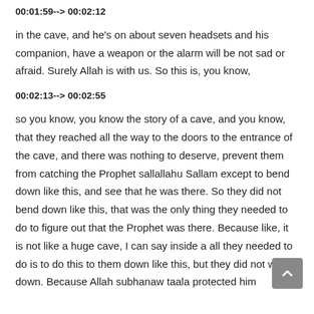00:01:59--> 00:02:12
in the cave, and he's on about seven headsets and his companion, have a weapon or the alarm will be not sad or afraid. Surely Allah is with us. So this is, you know,
00:02:13--> 00:02:55
so you know, you know the story of a cave, and you know, that they reached all the way to the doors to the entrance of the cave, and there was nothing to deserve, prevent them from catching the Prophet sallallahu Sallam except to bend down like this, and see that he was there. So they did not bend down like this, that was the only thing they needed to do to figure out that the Prophet was there. Because like, it is not like a huge cave, I can say inside a all they needed to do is to do this to them down like this, but they did not win down. Because Allah subhanaw taala protected him